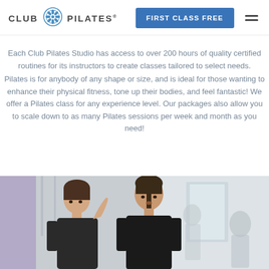CLUB PILATES | FIRST CLASS FREE
Each Club Pilates Studio has access to over 200 hours of quality certified routines for its instructors to create classes tailored to select needs. Pilates is for anybody of any shape or size, and is ideal for those wanting to enhance their physical fitness, tone up their bodies, and feel fantastic! We offer a Pilates class for any experience level. Our packages also allow you to scale down to as many Pilates sessions per week and month as you need!
[Figure (photo): Two women in a Club Pilates studio; an instructor appears to be guiding a student. Background shows equipment and other people in a bright studio.]